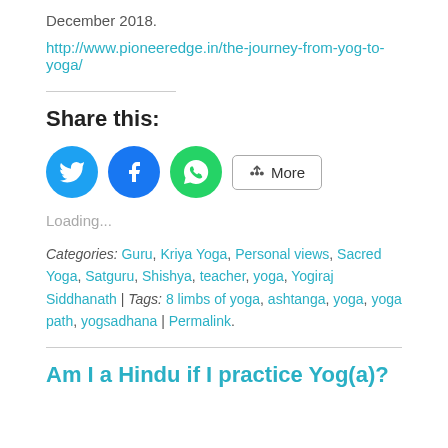December 2018.
http://www.pioneeredge.in/the-journey-from-yog-to-yoga/
Share this:
[Figure (other): Social share buttons: Twitter (blue circle), Facebook (blue circle), WhatsApp (green circle), and a More button with share icon]
Loading...
Categories: Guru, Kriya Yoga, Personal views, Sacred Yoga, Satguru, Shishya, teacher, yoga, Yogiraj Siddhanath | Tags: 8 limbs of yoga, ashtanga, yoga, yoga path, yogsadhana | Permalink.
Am I a Hindu if I practice Yog(a)?